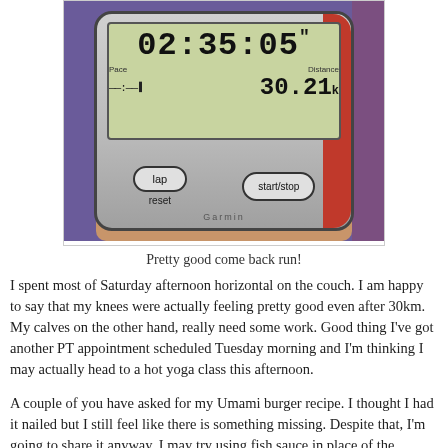[Figure (photo): GPS running watch showing time 02:35:05 and distance 30.21, with lap and start/stop buttons visible, lying on a purple surface]
Pretty good come back run!
I spent most of Saturday afternoon horizontal on the couch. I am happy to say that my knees were actually feeling pretty good even after 30km. My calves on the other hand, really need some work. Good thing I've got another PT appointment scheduled Tuesday morning and I'm thinking I may actually head to a hot yoga class this afternoon.
A couple of you have asked for my Umami burger recipe. I thought I had it nailed but I still feel like there is something missing. Despite that, I'm going to share it anyway. I may try using fish sauce in place of the anchovy paste next time I